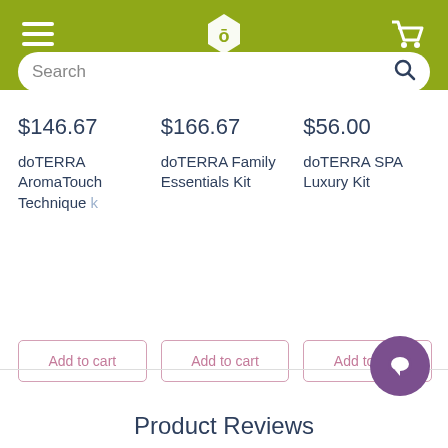doTERRA store header with hamburger menu, logo, cart icon, and search bar
$146.67
doTERRA AromaTouch Technique
$166.67
doTERRA Family Essentials Kit
$56.00
doTERRA SPA Luxury Kit
Add to cart
Add to cart
Add to cart
Product Reviews